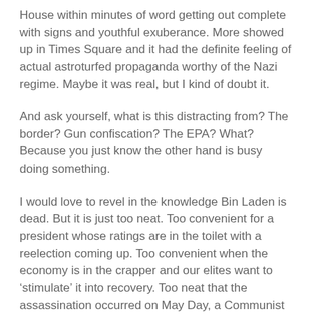House within minutes of word getting out complete with signs and youthful exuberance. More showed up in Times Square and it had the definite feeling of actual astroturfed propaganda worthy of the Nazi regime. Maybe it was real, but I kind of doubt it.
And ask yourself, what is this distracting from? The border? Gun confiscation? The EPA? What? Because you just know the other hand is busy doing something.
I would love to revel in the knowledge Bin Laden is dead. But it is just too neat. Too convenient for a president whose ratings are in the toilet with a reelection coming up. Too convenient when the economy is in the crapper and our elites want to ‘stimulate’ it into recovery. Too neat that the assassination occurred on May Day, a Communist day. Just too many doubts and questions.
Update:
I spoke with a friend who is a Navy SEAL. Bin Laden’s death